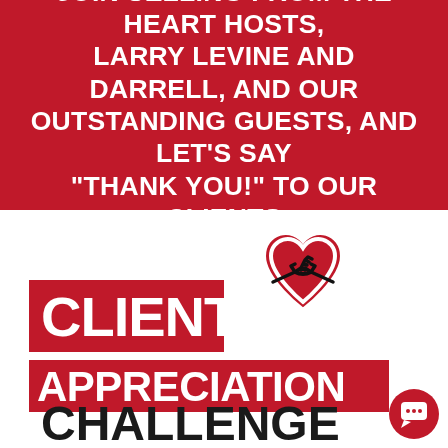JOIN SELLING FROM THE HEART HOSTS, LARRY LEVINE AND DARRELL, AND OUR OUTSTANDING GUESTS, AND LET'S SAY "THANK YOU!" TO OUR CLIENTS
[Figure (logo): Client Appreciation Challenge logo: text 'CLIENT' on left with a red banner reading 'APPRECIATION' below, and a heart containing a handshake icon to the right. Below in black text: 'CHALLENGE'.]